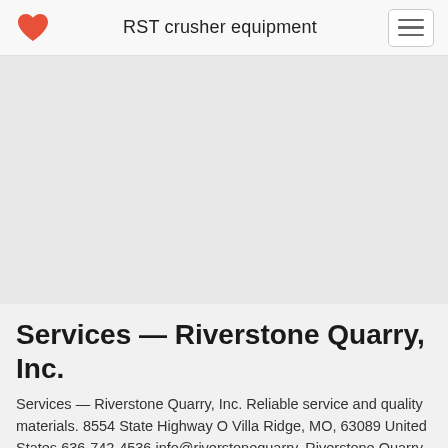RST crusher equipment
[Figure (other): Gray empty content area placeholder]
Services — Riverstone Quarry, Inc.
Services — Riverstone Quarry, Inc. Reliable service and quality materials. 8554 State Highway O Villa Ridge, MO, 63089 United States 636-742-4536 info@riverstonequarry. Riverstone Quarry, in